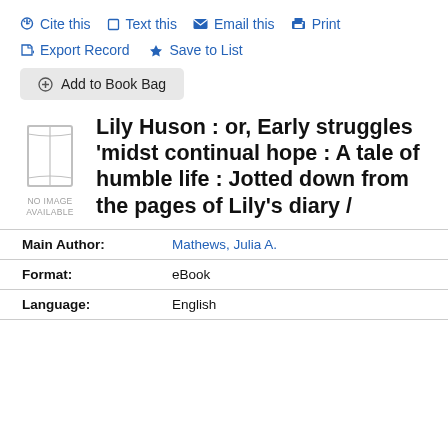* Cite this   ☐ Text this   ✉ Email this   ⎙ Print
Export Record   ★ Save to List
⊕ Add to Book Bag
Lily Huson : or, Early struggles 'midst continual hope : A tale of humble life : Jotted down from the pages of Lily's diary /
| Field | Value |
| --- | --- |
| Main Author: | Mathews, Julia A. |
| Format: | eBook |
| Language: | English |